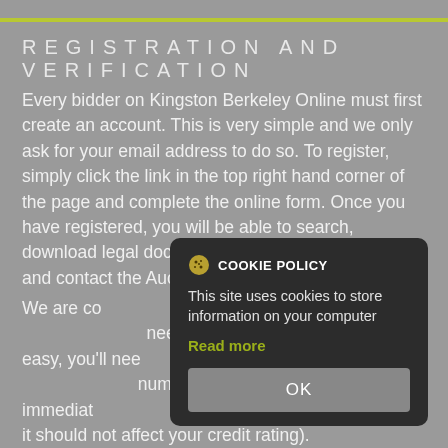REGISTRATION AND VERIFICATION
Every bidder on Kingston Berkeley Online must first create an account. This is very simple and we only ask for your email address to do so. To register, simply click the link in the top right hand corner of the page and complete the online form. Once you have registered, you will be able to search, download legal documents, arrange site viewings and contact the Auctioneers and the solicitors
We are co... anti-money laundering... need to be autho... nd easy, you'll nee... rovide either a p... number. Verificatio... immediately... n your credit report (but it should not affect your credit rating).
COOKIE POLICY
This site uses cookies to store information on your computer
Read more
OK